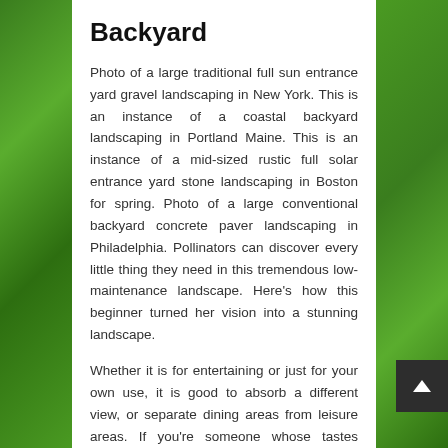Backyard
Photo of a large traditional full sun entrance yard gravel landscaping in New York. This is an instance of a coastal backyard landscaping in Portland Maine. This is an instance of a mid-sized rustic full solar entrance yard stone landscaping in Boston for spring. Photo of a large conventional backyard concrete paver landscaping in Philadelphia. Pollinators can discover every little thing they need in this tremendous low-maintenance landscape. Here's how this beginner turned her vision into a stunning landscape.
Whether it is for entertaining or just for your own use, it is good to absorb a different view, or separate dining areas from leisure areas. If you're someone whose tastes change relying on tendencies, then you may wish to go for a